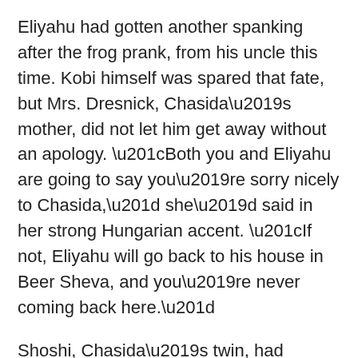Eliyahu had gotten another spanking after the frog prank, from his uncle this time. Kobi himself was spared that fate, but Mrs. Dresnick, Chasida’s mother, did not let him get away without an apology. “Both you and Eliyahu are going to say you’re sorry nicely to Chasida,” she’d said in her strong Hungarian accent. “If not, Eliyahu will go back to his house in Beer Sheva, and you’re never coming back here.”
Shoshi, Chasida’s twin, had suggested that they prepare her a bouquet of paper flowers, and under her guidance, the boys had colored white papers in different shades and folded them into a variety of shapes.
“Totally irrelevant to our discussion,” Eliyahu said peevishly, and then stopped himself from thinking about